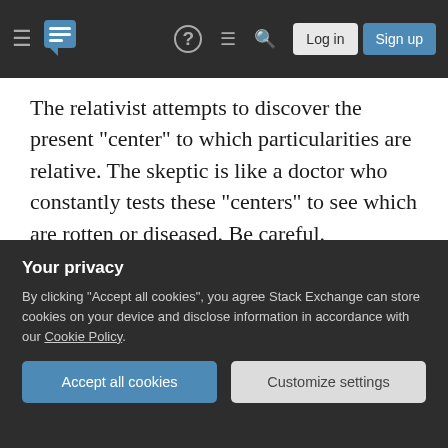Stack Exchange navigation bar with hamburger menu, logo, help icon, chat icon, search icon, Log in button, Sign up button
The relativist attempts to discover the present "center" to which particularities are relative. The skeptic is like a doctor who constantly tests these "centers" to see which are rotten or diseased. Be careful. Philosophy, and especially logic, invite you into an exciting world of "find the right absolute." Wisdom backs away from that excitement, with "early" and "late" Wittgenstein being the most moving example. To philosophize, I would say, is to discover the "absolute" towards which normal, daily things are "relative" and to then use all your powers
Your privacy
By clicking "Accept all cookies", you agree Stack Exchange can store cookies on your device and disclose information in accordance with our Cookie Policy.
Accept all cookies
Customize settings